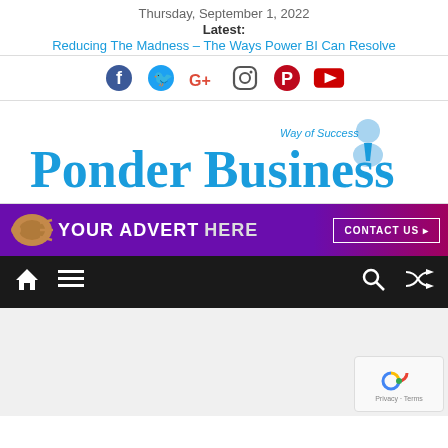Thursday, September 1, 2022
Latest:
Reducing The Madness – The Ways Power BI Can Resolve
[Figure (infographic): Social media icons: Facebook, Twitter, Google+, Instagram, Pinterest, YouTube]
[Figure (logo): Ponder Business logo with 'Way of Success' tagline and person icon]
[Figure (infographic): Advertisement banner: purple/magenta gradient with megaphone icon, text 'YOUR ADVERT HERE' and 'CONTACT US' button]
[Figure (screenshot): Navigation bar with home icon, menu icon, search icon, and shuffle icon on dark background]
[Figure (infographic): Light gray content area below navigation bar]
[Figure (infographic): reCAPTCHA widget in bottom right corner with Privacy and Terms text]